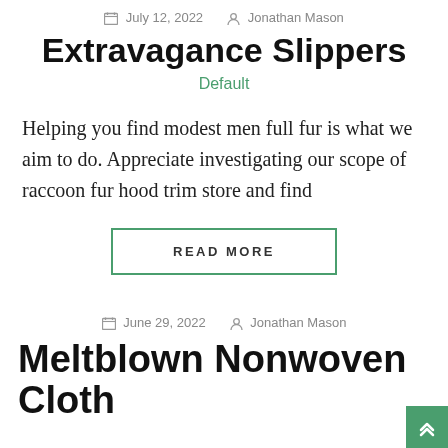July 12, 2022  Jonathan Mason
Extravagance Slippers
Default
Helping you find modest men full fur is what we aim to do. Appreciate investigating our scope of raccoon fur hood trim store and find
READ MORE
June 29, 2022  Jonathan Mason
Meltblown Nonwoven Cloth